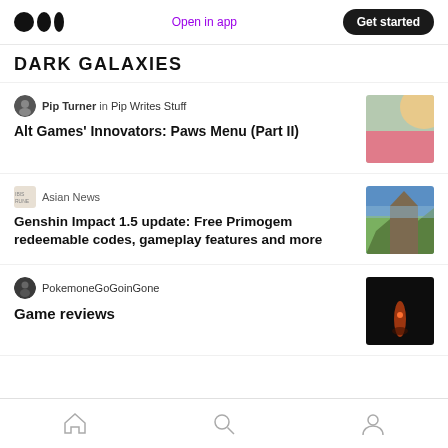Medium logo | Open in app | Get started
DARK GALAXIES
Pip Turner in Pip Writes Stuff
Alt Games' Innovators: Paws Menu (Part II)
[Figure (illustration): Abstract pastel art thumbnail: green, peach, pink geometric shapes]
Asian News
Genshin Impact 1.5 update: Free Primogem redeemable codes, gameplay features and more
[Figure (photo): Landscape game art thumbnail showing rocky terrain with a path]
PokemoneGoGoinGone
Game reviews
[Figure (photo): Dark game screenshot thumbnail with glowing orange light]
Navigation: Home | Search | Profile